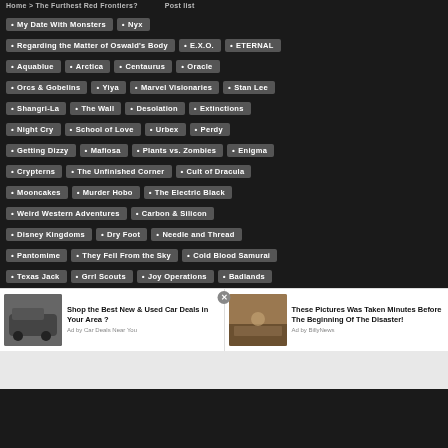Home > The Furthest Red Frontiers? Post list
My Date With Monsters
Nyx
Regarding the Matter of Oswald's Body
E.X.O.
ETERNAL
Aquablue
Arctica
Centaurus
Oracle
Orcs & Gobelins
Yiya
Marvel Visionaries
Stan Lee
Shangri-La
The Wall
Desolation
Extinctions
Night Cry
School of Love
Urbex
Perdy
Getting Dizzy
Mafiosa
Plants vs. Zombies
Enigma
Crypterns
The Unfinished Corner
Cult of Dracula
Mooncakes
Murder Hobo
The Electric Black
Weird Western Adventures
Carbon & Silicon
Disney Kingdoms
Dry Foot
Needle and Thread
Pantomime
They Fell From the Sky
Cold Blood Samurai
Texas Jack
Grrl Scouts
Joy Operations
Badlands
[Figure (photo): Advertisement: Car image with text 'Shop the Best New & Used Car Deals in Your Area ?' Ad by Car Deals Near You]
[Figure (photo): Advertisement: Car/disaster image with text 'These Pictures Was Taken Minutes Before The Beginning Of The Disaster!' Ad by BillyNews]